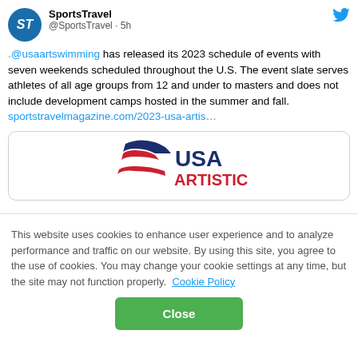[Figure (screenshot): Tweet from SportsTravel account with avatar and Twitter bird icon showing a tweet about @usaartswimming 2023 schedule of events]
.@usaartswimming has released its 2023 schedule of events with seven weekends scheduled throughout the U.S. The event slate serves athletes of all age groups from 12 and under to masters and does not include development camps hosted in the summer and fall. sportstravelmagazine.com/2023-usa-artis…
[Figure (logo): USA Artistic Swimming logo embedded in tweet card]
This website uses cookies to enhance user experience and to analyze performance and traffic on our website. By using this site, you agree to the use of cookies. You may change your cookie settings at any time, but the site may not function properly. Cookie Policy
Close